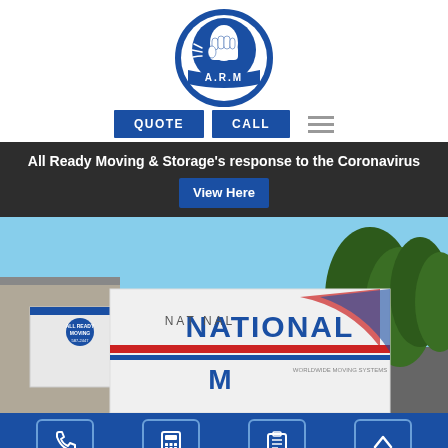[Figure (logo): A.R.M (All Ready Moving) circular logo with blue circle, white arm/fist illustration, and A.R.M text on banner below]
[Figure (other): Navigation buttons: QUOTE (blue), CALL (blue), and hamburger menu icon]
All Ready Moving & Storage's response to the Coronavirus View Here
[Figure (photo): Photo of moving trucks including All Ready Moving truck and National Worldwide Moving Systems white trailer truck, parked outside with trees in background]
[Figure (other): Bottom navigation bar with four icon buttons: phone, calculator/quote, clipboard/checklist, and up-arrow/back-to-top]